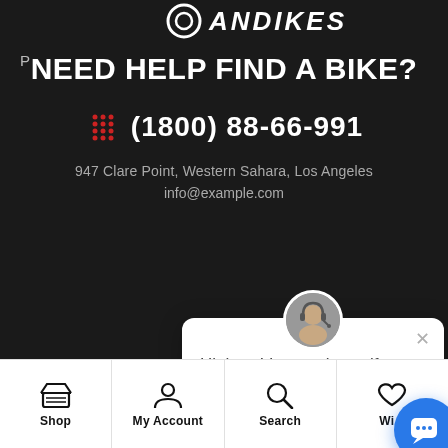[Figure (screenshot): Website screenshot showing a bike shop contact page with dark background, headline, phone number, address, email, chat popup overlay, and bottom navigation bar]
NEED HELP FIND A BIKE?
(1800) 88-66-991
947 Clare Point, Western Sahara, Los Angeles
info@example.com
Hi there! Let me know if you have any questions about the product or pricing.
Accessories
Shop
My Account
Search
Wi...